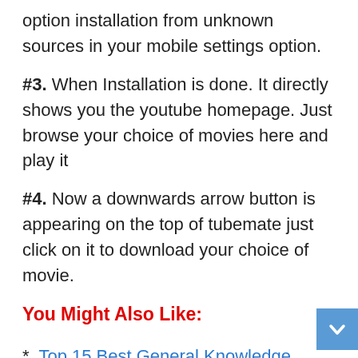option installation from unknown sources in your mobile settings option.
#3. When Installation is done. It directly shows you the youtube homepage. Just browse your choice of movies here and play it
#4. Now a downwards arrow button is appearing on the top of tubemate just click on it to download your choice of movie.
You Might Also Like:
*. Top 15 Best General Knowledge Android Apps